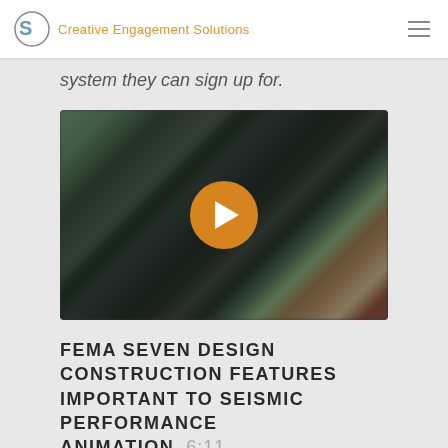Creative Engagement Solutions
system they can sign up for.
[Figure (screenshot): Video thumbnail showing a blurred aerial/overhead view of a modern building with a play button overlay, indicating a video player for a FEMA seismic design animation.]
FEMA SEVEN DESIGN CONSTRUCTION FEATURES IMPORTANT TO SEISMIC PERFORMANCE ANIMATION 6:11